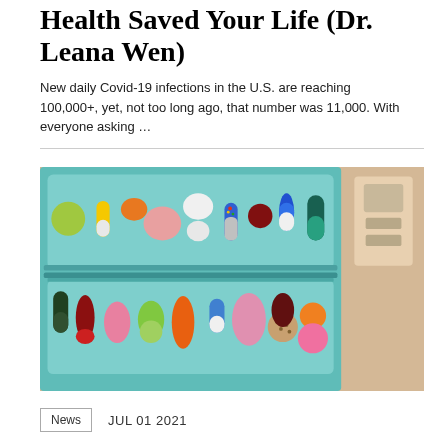Health Saved Your Life (Dr. Leana Wen)
New daily Covid-19 infections in the U.S. are reaching 100,000+, yet, not too long ago, that number was 11,000. With everyone asking …
[Figure (photo): Overhead photo of a pill organizer tray containing various colorful pills and capsules arranged in two rows on a teal/blue organizer, with a beige/tan background]
News   JUL 01 2021